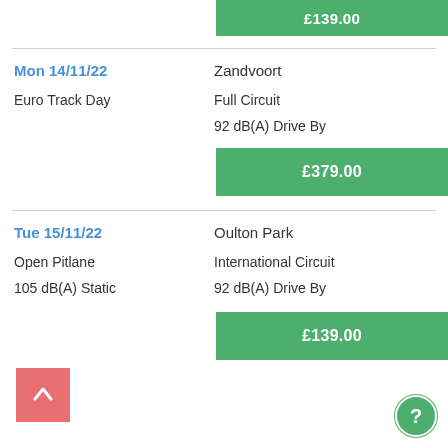£139.00
Mon 14/11/22
Zandvoort
Euro Track Day
Full Circuit
92 dB(A) Drive By
£379.00
Tue 15/11/22
Oulton Park
Open Pitlane
International Circuit
105 dB(A) Static
92 dB(A) Drive By
£139.00